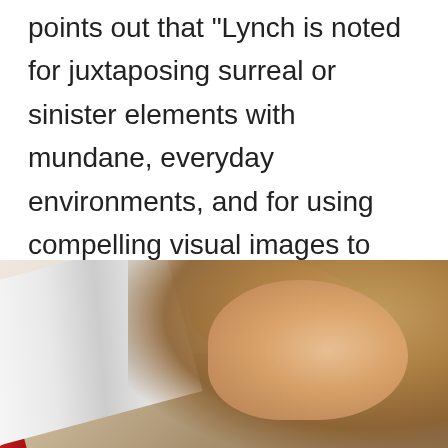points out that "Lynch is noted for juxtaposing surreal or sinister elements with mundane, everyday environments, and for using compelling visual images to emphasize a dreamlike quality of mystery or menace."
[Figure (photo): A young woman with blonde-brown hair lying down reading a book. She has her hand on her head. An open book is visible in the foreground with a red spine, partially showing the word 'pact' on the cover.]